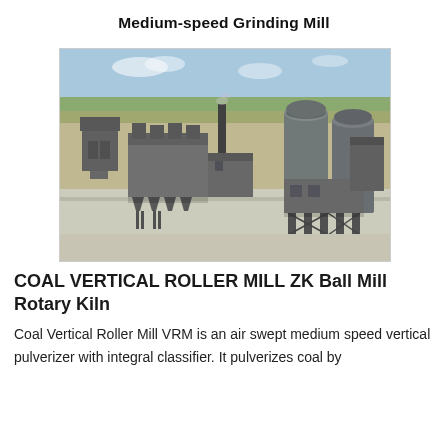Medium-speed Grinding Mill
[Figure (photo): Aerial photograph of an industrial coal grinding mill facility with large silos, hopper structures, conveyors, and a smokestack on a flat open site.]
COAL VERTICAL ROLLER MILL ZK Ball Mill Rotary Kiln
Coal Vertical Roller Mill VRM is an air swept medium speed vertical pulverizer with integral classifier. It pulverizes coal by